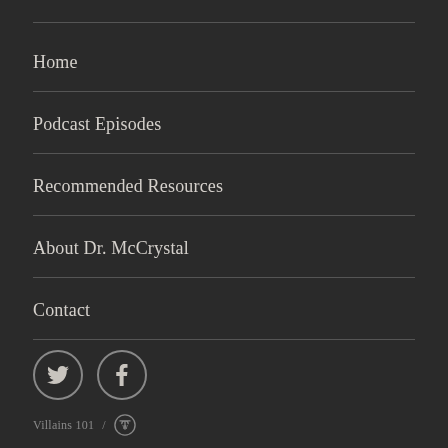Home
Podcast Episodes
Recommended Resources
About Dr. McCrystal
Contact
[Figure (illustration): Twitter and Facebook social media icons as circles with bird and f symbols]
Villains 101 / WordPress logo